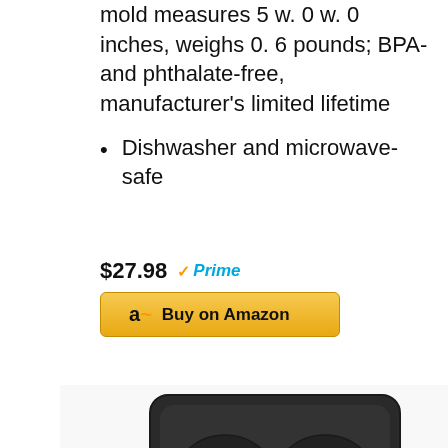mold measures 5 w. 0 w. 0 inches, weighs 0. 6 pounds; BPA- and phthalate-free, manufacturer's limited lifetime
Dishwasher and microwave-safe
$27.98 Prime
[Figure (screenshot): Buy on Amazon button with Amazon logo]
[Figure (photo): Black silicone skull ice mold tray with transparent skull-shaped ice cubes visible in the front compartment]